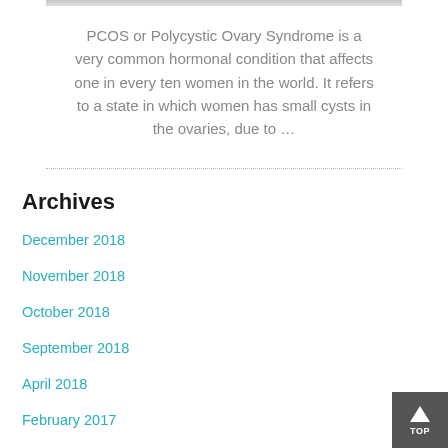[Figure (photo): Partial top image clipped at top of page]
PCOS or Polycystic Ovary Syndrome is a very common hormonal condition that affects one in every ten women in the world. It refers to a state in which women has small cysts in the ovaries, due to …
Archives
December 2018
November 2018
October 2018
September 2018
April 2018
February 2017